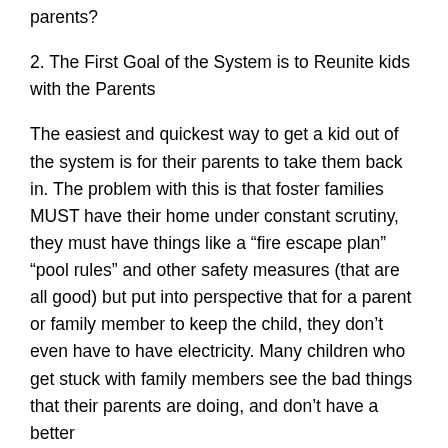parents?
2. The First Goal of the System is to Reunite kids with the Parents
The easiest and quickest way to get a kid out of the system is for their parents to take them back in. The problem with this is that foster families MUST have their home under constant scrutiny, they must have things like a “fire escape plan” “pool rules” and other safety measures (that are all good) but put into perspective that for a parent or family member to keep the child, they don’t even have to have electricity. Many children who get stuck with family members see the bad things that their parents are doing, and don’t have a better